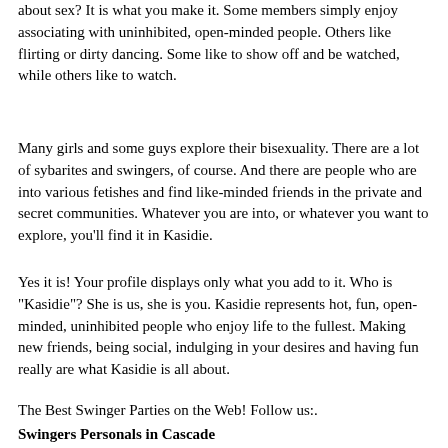about sex? It is what you make it. Some members simply enjoy associating with uninhibited, open-minded people. Others like flirting or dirty dancing. Some like to show off and be watched, while others like to watch.
Many girls and some guys explore their bisexuality. There are a lot of sybarites and swingers, of course. And there are people who are into various fetishes and find like-minded friends in the private and secret communities. Whatever you are into, or whatever you want to explore, you'll find it in Kasidie.
Yes it is! Your profile displays only what you add to it. Who is "Kasidie"? She is us, she is you. Kasidie represents hot, fun, open-minded, uninhibited people who enjoy life to the fullest. Making new friends, being social, indulging in your desires and having fun really are what Kasidie is all about.
The Best Swinger Parties on the Web! Follow us:.
Swingers Personals in Cascade